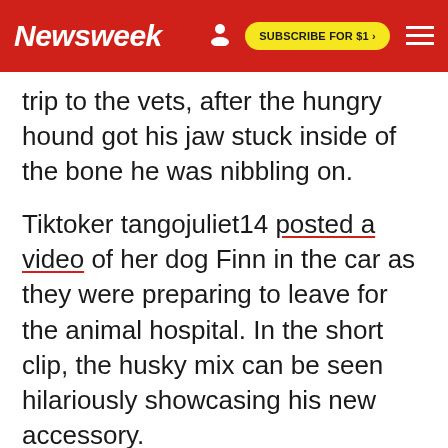Newsweek | SUBSCRIBE FOR $1 >
trip to the vets, after the hungry hound got his jaw stuck inside of the bone he was nibbling on.
Tiktoker tangojuliet14 posted a video of her dog Finn in the car as they were preparing to leave for the animal hospital. In the short clip, the husky mix can be seen hilariously showcasing his new accessory.